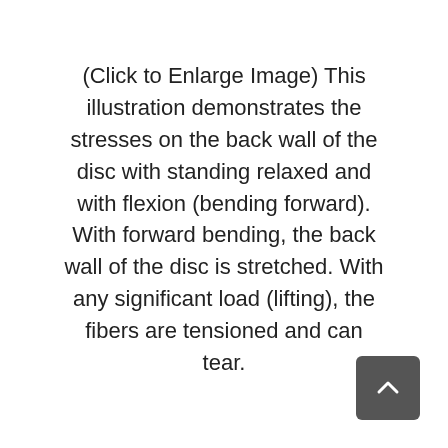(Click to Enlarge Image) This illustration demonstrates the stresses on the back wall of the disc with standing relaxed and with flexion (bending forward). With forward bending, the back wall of the disc is stretched. With any significant load (lifting), the fibers are tensioned and can tear.